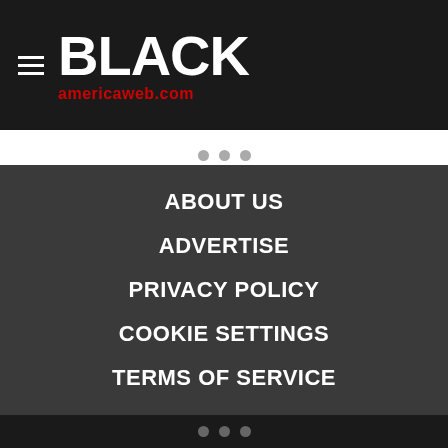blAck americaweb.com
[Figure (other): Three grey dots indicating a loading spinner or pagination indicator in white content area]
ABOUT US
ADVERTISE
PRIVACY POLICY
COOKIE SETTINGS
TERMS OF SERVICE
• • •